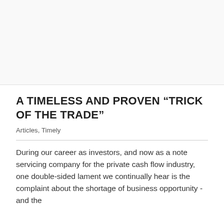[Figure (photo): Blank image area at top of page, light gray background]
A TIMELESS AND PROVEN “TRICK OF THE TRADE”
Articles, Timely
During our career as investors, and now as a note servicing company for the private cash flow industry, one double-sided lament we continually hear is the complaint about the shortage of business opportunity - and the